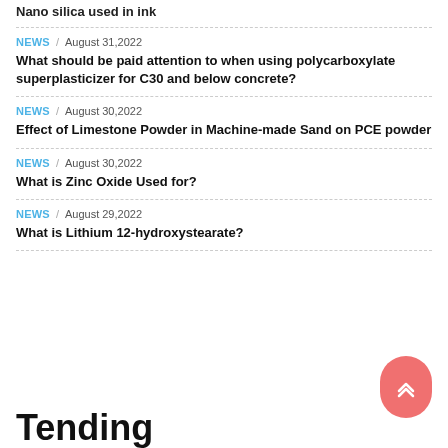Nano silica used in ink
NEWS / August 31,2022 — What should be paid attention to when using polycarboxylate superplasticizer for C30 and below concrete?
NEWS / August 30,2022 — Effect of Limestone Powder in Machine-made Sand on PCE powder
NEWS / August 30,2022 — What is Zinc Oxide Used for?
NEWS / August 29,2022 — What is Lithium 12-hydroxystearate?
Tending